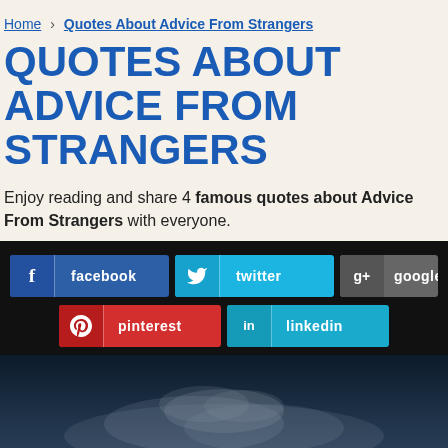Home › Quotes About Advice From Strangers
QUOTES ABOUT ADVICE FROM STRANGERS
Enjoy reading and share 4 famous quotes about Advice From Strangers with everyone.
[Figure (infographic): Social sharing buttons: facebook, twitter, google, pinterest, linkedin]
[Figure (photo): Dark blue background with white/grey smoke or cloud imagery at bottom]